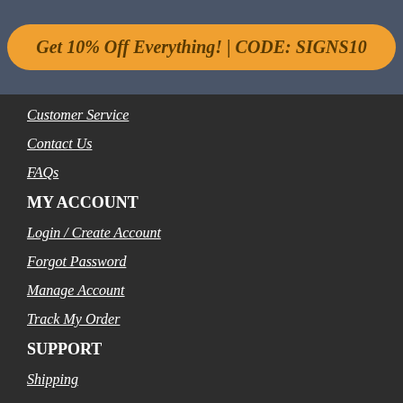[Figure (infographic): Orange rounded rectangle promotional button with text: Get 10% Off Everything! | CODE: SIGNS10]
Customer Service
Contact Us
FAQs
MY ACCOUNT
Login / Create Account
Forgot Password
Manage Account
Track My Order
SUPPORT
Shipping
Returns
Reorders
Coupon Questions